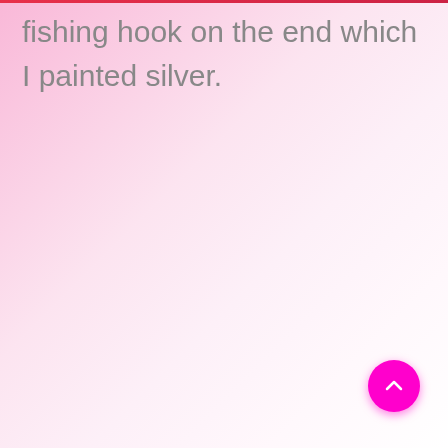fishing hook on the end which I painted silver.
[Figure (other): Magenta circular floating action button with upward chevron arrow icon, positioned bottom-right of the page.]